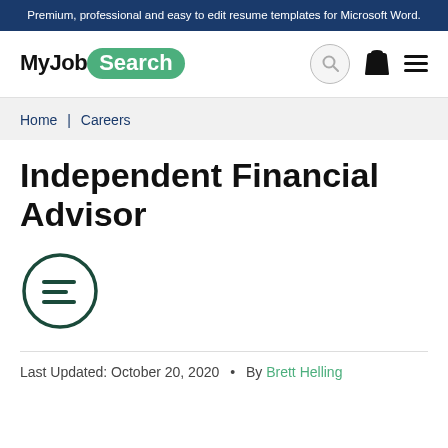Premium, professional and easy to edit resume templates for Microsoft Word.
[Figure (logo): MyJobSearch logo with green pill-shaped 'Search' badge, plus search, bag, and hamburger menu icons in navigation bar]
Home | Careers
Independent Financial Advisor
[Figure (other): Dark green circle icon containing three horizontal lines representing a table of contents]
Last Updated: October 20, 2020  •  By Brett Helling